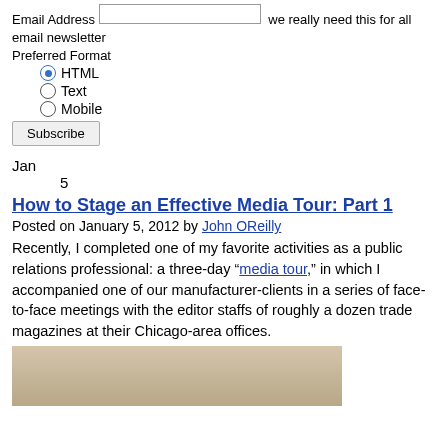Email Address   we really need this for all email newsletter
Preferred Format
HTML (selected)
Text
Mobile
Subscribe
Jan
5
How to Stage an Effective Media Tour: Part 1
Posted on January 5, 2012 by John OReilly
Recently, I completed one of my favorite activities as a public relations professional: a three-day “media tour,” in which I accompanied one of our manufacturer-clients in a series of face-to-face meetings with the editor staffs of roughly a dozen trade magazines at their Chicago-area offices.
[Figure (photo): Photo of a room/presentation space, partially cropped at bottom of page]